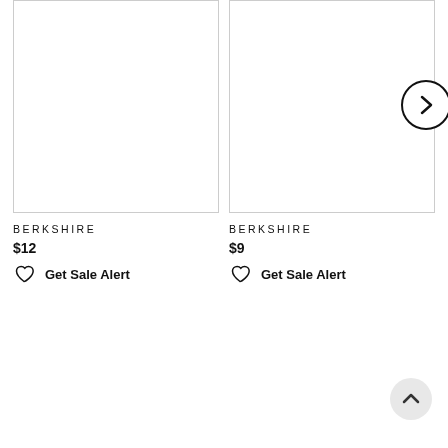[Figure (screenshot): Product listing screenshot showing two Berkshire products with prices and sale alert buttons]
BERKSHIRE
$12
Get Sale Alert
BERKSHIRE
$9
Get Sale Alert